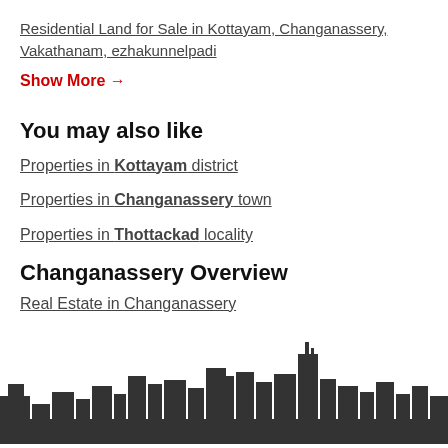Residential Land for Sale in Kottayam, Changanassery, Vakathanam, ezhakunnelpadi
Show More →
You may also like
Properties in Kottayam district
Properties in Changanassery town
Properties in Thottackad locality
Changanassery Overview
Real Estate in Changanassery
[Figure (illustration): City skyline silhouette in dark gray at the bottom of the page]